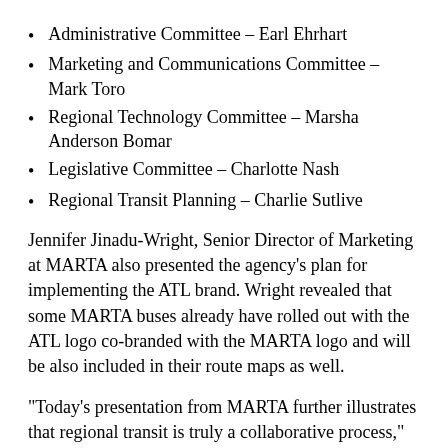Administrative Committee – Earl Ehrhart
Marketing and Communications Committee – Mark Toro
Regional Technology Committee – Marsha Anderson Bomar
Legislative Committee – Charlotte Nash
Regional Transit Planning – Charlie Sutlive
Jennifer Jinadu-Wright, Senior Director of Marketing at MARTA also presented the agency's plan for implementing the ATL brand. Wright revealed that some MARTA buses already have rolled out with the ATL logo co-branded with the MARTA logo and will be also included in their route maps as well.
“Today’s presentation from MARTA further illustrates that regional transit is truly a collaborative process,” noted Chris Tomlinson, ATL Interim Executive Director. “We will continue to work closely